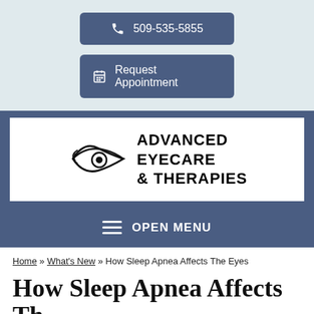509-535-5855
Request Appointment
[Figure (logo): Advanced Eyecare & Therapies logo with stylized eye graphic and bold uppercase text]
OPEN MENU
Home » What's New » How Sleep Apnea Affects The Eyes
How Sleep Apnea Affects Th…